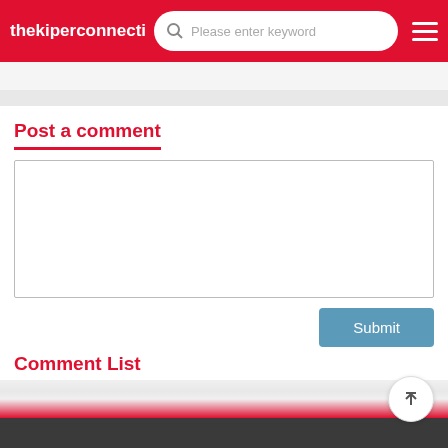thekiperconnecti...
Post a comment
[Figure (screenshot): Empty comment text area input box]
Submit
Comment List